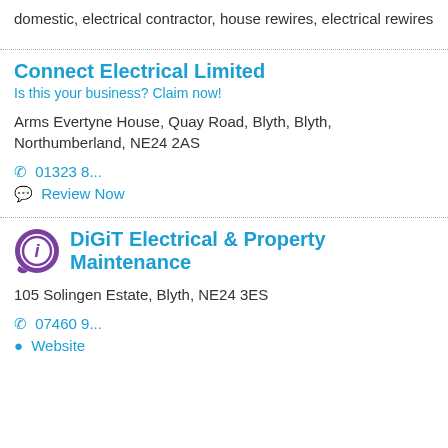domestic, electrical contractor, house rewires, electrical rewires
Connect Electrical Limited
Is this your business? Claim now!
Arms Evertyne House, Quay Road, Blyth, Blyth, Northumberland, NE24 2AS
01323 8...
Review Now
DiGiT Electrical & Property Maintenance
105 Solingen Estate, Blyth, NE24 3ES
07460 9...
Website